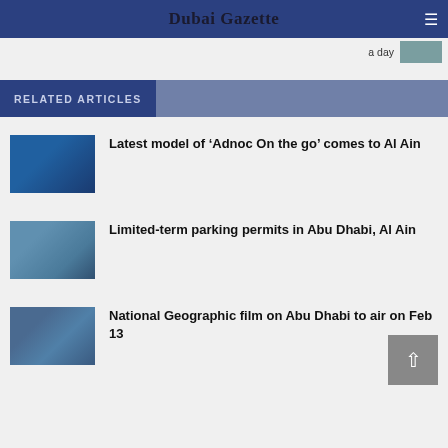Dubai Gazette
a day
RELATED ARTICLES
Latest model of ‘Adnoc On the go’ comes to Al Ain
[Figure (photo): Photo related to Adnoc On the go fuel station]
Limited-term parking permits in Abu Dhabi, Al Ain
[Figure (photo): Aerial photo of Abu Dhabi waterfront cityscape]
National Geographic film on Abu Dhabi to air on Feb 13
[Figure (photo): Aerial photo of Abu Dhabi skyline and waterfront]